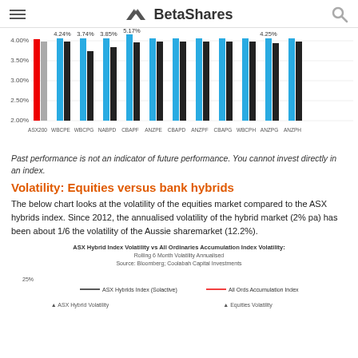BetaShares
[Figure (grouped-bar-chart): Yield comparison bar chart]
Past performance is not an indicator of future performance. You cannot invest directly in an index.
Volatility: Equities versus bank hybrids
The below chart looks at the volatility of the equities market compared to the ASX hybrids index. Since 2012, the annualised volatility of the hybrid market (2% pa) has been about 1/6 the volatility of the Aussie sharemarket (12.2%).
[Figure (line-chart): Line chart showing ASX Hybrids Index (Solactive) vs All Ords Accumulation Index volatility over time. Source: Bloomberg; Coolabah Capital Investments]